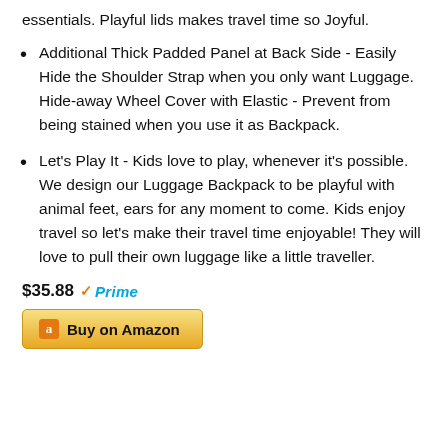essentials. Playful lids makes travel time so Joyful.
Additional Thick Padded Panel at Back Side - Easily Hide the Shoulder Strap when you only want Luggage. Hide-away Wheel Cover with Elastic - Prevent from being stained when you use it as Backpack.
Let's Play It - Kids love to play, whenever it's possible. We design our Luggage Backpack to be playful with animal feet, ears for any moment to come. Kids enjoy travel so let's make their travel time enjoyable! They will love to pull their own luggage like a little traveller.
$35.88 Prime
Buy on Amazon